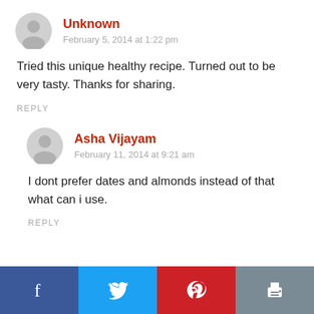Unknown
February 5, 2014 at 1:22 pm
Tried this unique healthy recipe. Turned out to be very tasty. Thanks for sharing.
REPLY
Asha Vijayam
February 11, 2014 at 9:21 am
I dont prefer dates and almonds instead of that what can i use.
REPLY
[Figure (other): Social share bar with Facebook, Twitter, Pinterest, and Print buttons]